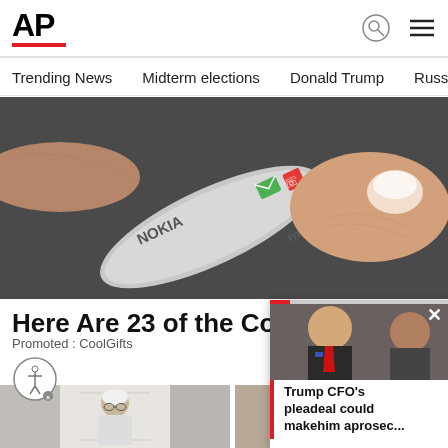AP
Trending News
Midterm elections
Donald Trump
Russia-Ukr
[Figure (photo): Close-up photo of a Nokia FIT device being held by a finger, showing green message icon and red phone button on a metallic body]
Here Are 23 of the Coolest G
Promoted : CoolGifts
[Figure (photo): Photo of an elderly white-haired man in a corridor]
[Figure (photo): Photo of a person or sculpture partially visible]
[Figure (photo): Popup overlay showing Donald Trump and another man, with headline: Trump CFO's pleadeal could makehim aprosec...]